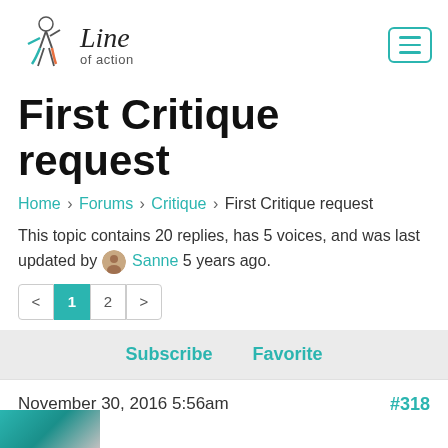[Figure (logo): Line of action logo with illustrated figure and cursive/script text]
First Critique request
Home › Forums › Critique › First Critique request
This topic contains 20 replies, has 5 voices, and was last updated by Sanne 5 years ago.
Pagination: < 1 2 >
Subscribe   Favorite
November 30, 2016 5:56am   #318